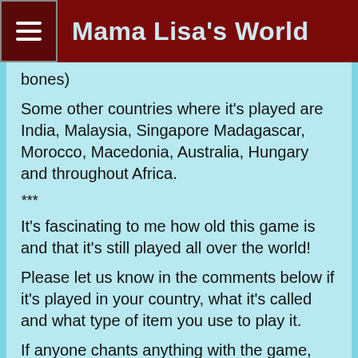Mama Lisa's World
bones)
Some other countries where it's played are India, Malaysia, Singapore Madagascar, Morocco, Macedonia, Australia, Hungary and throughout Africa.
***
It's fascinating to me how old this game is and that it's still played all over the world!
Please let us know in the comments below if it's played in your country, what it's called and what type of item you use to play it.
If anyone chants anything with the game, please share that too.